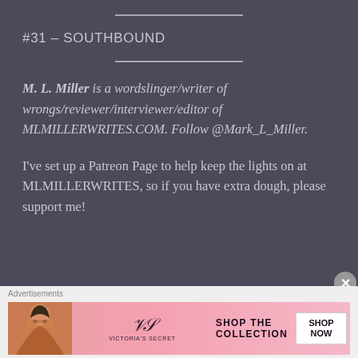#31 – SOUTHBOUND
M. L. Miller is a wordslinger/writer of wrongs/reviewer/interviewer/editor of MLMILLERWRITES.COM. Follow @Mark_L_Miller.
I've set up a Patreon Page to help keep the lights on at MLMILLERWRITES, so if you have extra dough, please support me!
[Figure (infographic): Victoria's Secret advertisement banner showing a model, Victoria's Secret logo, 'SHOP THE COLLECTION' text, and a 'SHOP NOW' button on a pink gradient background]
Advertisements